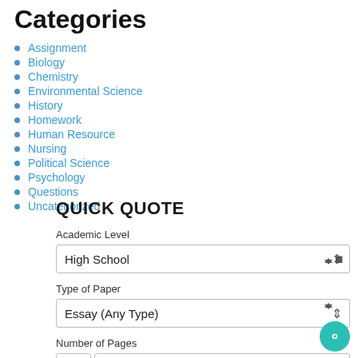Categories
Assignment
Biology
Chemistry
Environmental Science
History
Homework
Human Resource
Nursing
Political Science
Psychology
Questions
Uncategorized
QUICK QUOTE
Academic Level
High School
Type of Paper
Essay (Any Type)
Number of Pages